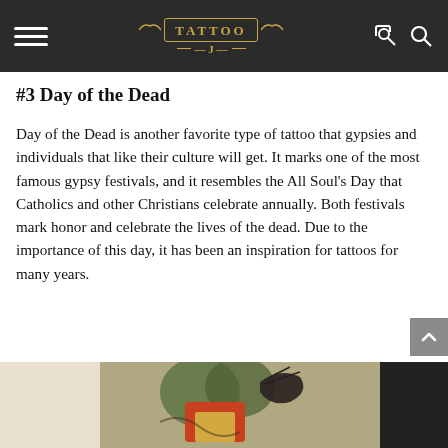TATTOO J
#3 Day of the Dead
Day of the Dead is another favorite type of tattoo that gypsies and individuals that like their culture will get. It marks one of the most famous gypsy festivals, and it resembles the All Soul's Day that Catholics and other Christians celebrate annually. Both festivals mark honor and celebrate the lives of the dead. Due to the importance of this day, it has been an inspiration for tattoos for many years.
[Figure (photo): A colorful Day of the Dead style tattoo on an arm, featuring a figure with feathers and decorative elements in red, yellow, green, and dark ink.]